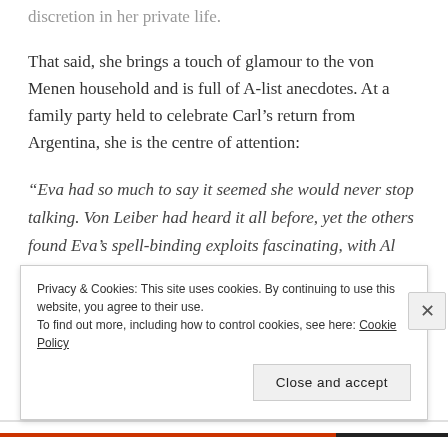discretion in her private life.
That said, she brings a touch of glamour to the von Menen household and is full of A-list anecdotes. At a family party held to celebrate Carl’s return from Argentina, she is the centre of attention:
“Eva had so much to say it seemed she would never stop talking. Von Leiber had heard it all before, yet the others found Eva’s spell-binding exploits fascinating, with Al Jolson, Paul Robeson, Irving Berlin, Fred Astaire, Ginger Rogers and even the Duke and Duchess of Windsor acclaimed as personal friends, as no doubt they were. Theatre had found a new
Privacy & Cookies: This site uses cookies. By continuing to use this website, you agree to their use.
To find out more, including how to control cookies, see here: Cookie Policy
Close and accept